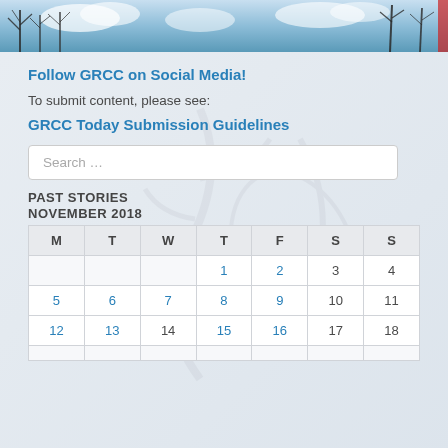[Figure (photo): Header photo of bare winter trees against a blue sky with clouds]
Follow GRCC on Social Media!
To submit content, please see:
GRCC Today Submission Guidelines
Search ...
PAST STORIES
NOVEMBER 2018
| M | T | W | T | F | S | S |
| --- | --- | --- | --- | --- | --- | --- |
|  |  |  | 1 | 2 | 3 | 4 |
| 5 | 6 | 7 | 8 | 9 | 10 | 11 |
| 12 | 13 | 14 | 15 | 16 | 17 | 18 |
|  |  |  |  |  |  |  |